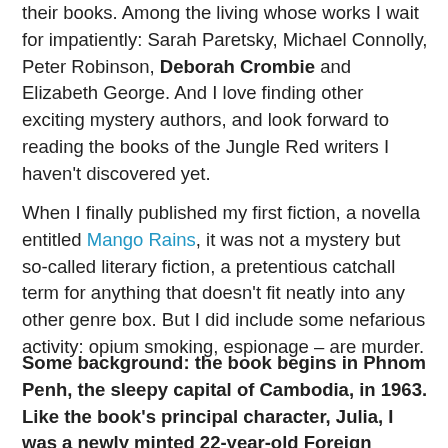their books. Among the living whose works I wait for impatiently: Sarah Paretsky, Michael Connolly, Peter Robinson, Deborah Crombie and Elizabeth George. And I love finding other exciting mystery authors, and look forward to reading the books of the Jungle Red writers I haven't discovered yet.
When I finally published my first fiction, a novella entitled Mango Rains, it was not a mystery but so-called literary fiction, a pretentious catchall term for anything that doesn't fit neatly into any other genre box. But I did include some nefarious activity: opium smoking, espionage – are murder.
Some background: the book begins in Phnom Penh, the sleepy capital of Cambodia, in 1963. Like the book's principal character, Julia, I was a newly minted 22-year-old Foreign Service Officer assigned there. People at Foreign Service posts tell a lot of stories, especially to newcomers. The idea is